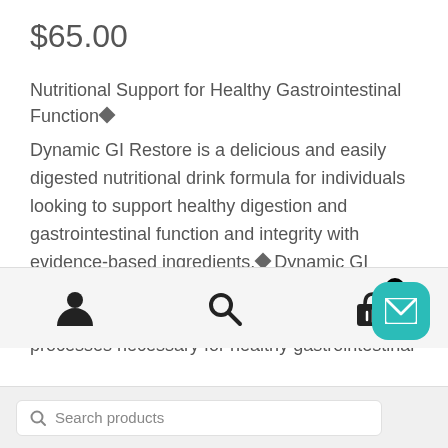$65.00
Nutritional Support for Healthy Gastrointestinal Function◆
Dynamic GI Restore is a delicious and easily digested nutritional drink formula for individuals looking to support healthy digestion and gastrointestinal function and integrity with evidence-based ingredients.◆ Dynamic GI Restore promotes healthy gut flora balance and nutrient absorption, along with a variety of other processes necessary for healthy gastrointestinal
[Figure (screenshot): Bottom navigation bar with user account icon, search icon, and shopping basket icon with badge showing 1 item]
[Figure (screenshot): Teal rounded square chat/email button in bottom right corner]
[Figure (screenshot): Search bar at bottom with search icon and 'Search products' placeholder text]